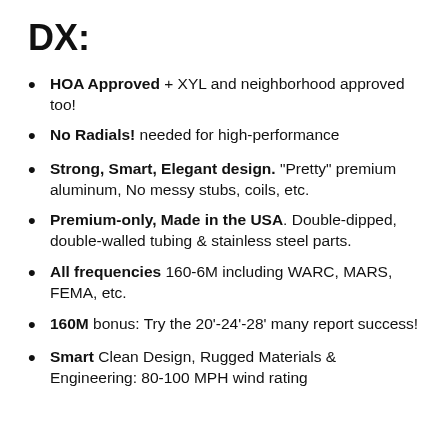DX:
HOA Approved + XYL and neighborhood approved too!
No Radials! needed for high-performance
Strong, Smart, Elegant design. "Pretty" premium aluminum, No messy stubs, coils, etc.
Premium-only, Made in the USA. Double-dipped, double-walled tubing & stainless steel parts.
All frequencies 160-6M including WARC, MARS, FEMA, etc.
160M bonus: Try the 20'-24'-28' many report success!
Smart Clean Design, Rugged Materials & Engineering: 80-100 MPH wind rating